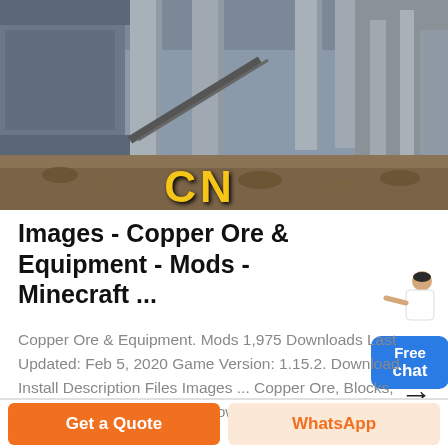[Figure (photo): Industrial mining/crushing equipment scene with concrete pillars, metal machinery, and dirt ground. Large yellow 'CN' text visible on the ground.]
Images - Copper Ore & Equipment - Mods - Minecraft ...
Copper Ore & Equipment. Mods 1,975 Downloads Last Updated: Feb 5, 2020 Game Version: 1.15.2. Download Install Description Files Images ... Copper Ore, Blocks, Tools, Armor & Weapons . Browse …
[Figure (illustration): Free chat widget with person figure and blue rounded button showing 'Free chat']